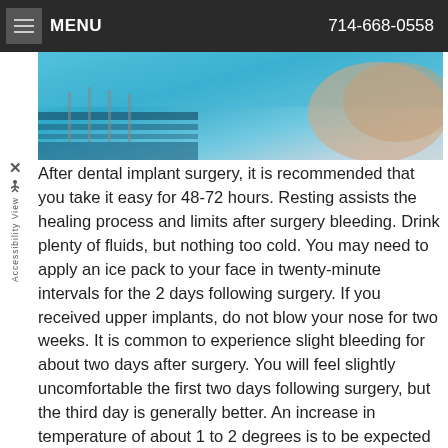MENU  714-668-0558
[Figure (photo): Photo of dental/medical surgical tools and blue surgical drapes, partially visible at top of page]
After dental implant surgery, it is recommended that you take it easy for 48-72 hours. Resting assists the healing process and limits after surgery bleeding. Drink plenty of fluids, but nothing too cold. You may need to apply an ice pack to your face in twenty-minute intervals for the 2 days following surgery. If you received upper implants, do not blow your nose for two weeks. It is common to experience slight bleeding for about two days after surgery. You will feel slightly uncomfortable the first two days following surgery, but the third day is generally better. An increase in temperature of about 1 to 2 degrees is to be expected and is not a cause for concern. Finally, while you can eat when you are hungry, do not chew directly onto the bone graft.